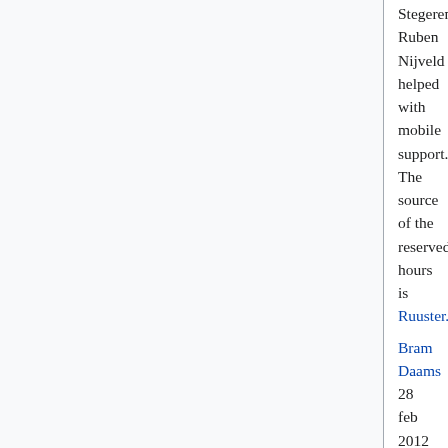Stegeren, Ruben Nijveld helped with mobile support. The source of the reserved hours is Ruuster.nl.
Bram Daams 28 feb 2012 16:53 (CET)
Teachers: test your course software in the summer!
C&CZ plans to reinstall all pc's in the computer labs with 64-bit Windows 7 and Ubuntu 12.04 during the summer holidays. Because it is not guaranteed that all software just runs with these versions of the operating systems, you are advised to reserve time for testing purposes. Test systems will be available at C&CZ in time.
Wim Janssen 28 feb 2012 15:53 (CET)
Network mini switch only to be